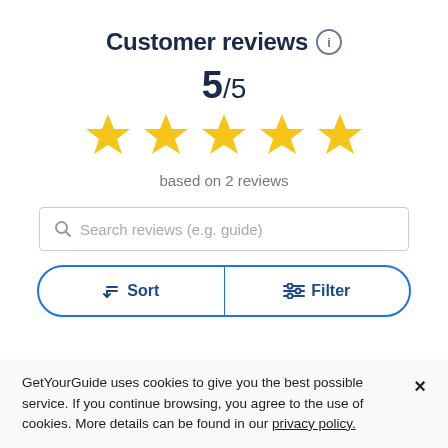Customer reviews ⓘ
5/5
[Figure (other): Five yellow star rating icons displayed in a row]
based on 2 reviews
Search reviews (e.g. guide)
Sort  Filter
GetYourGuide uses cookies to give you the best possible service. If you continue browsing, you agree to the use of cookies. More details can be found in our privacy policy.